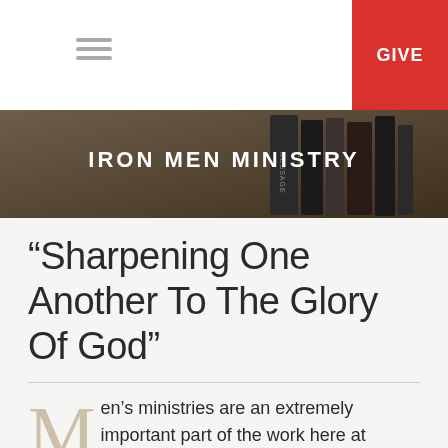GIVE
[Figure (photo): Hero banner image with books in background and white text reading IRON MEN MINISTRY]
“Sharpening One Another To The Glory Of God”
Men’s ministries are an extremely important part of the work here at Newcastle Fellowship Baptist Church.